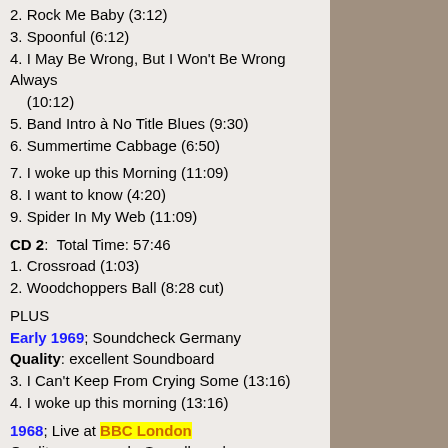2. Rock Me Baby (3:12)
3. Spoonful (6:12)
4. I May Be Wrong, But I Won't Be Wrong Always (10:12)
5. Band Intro à No Title Blues (9:30)
6. Summertime Cabbage (6:50)
7. I woke up this Morning (11:09)
8. I want to know (4:20)
9. Spider In My Web (11:09)
CD 2:  Total Time: 57:46
1. Crossroad (1:03)
2. Woodchoppers Ball (8:28 cut)
PLUS
Early 1969; Soundcheck Germany
Quality: excellent Soundboard
3. I Can't Keep From Crying Some (13:16)
4. I woke up this morning (13:16)
1968; Live at BBC London
Quality: very good - Soundboard